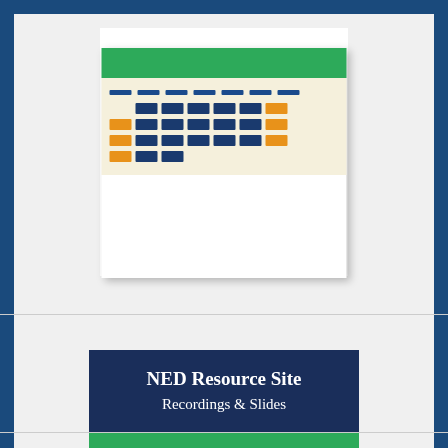[Figure (illustration): A calendar icon with a green top bar, dashed rows representing day labels, and a grid of navy blue and orange rectangles representing calendar dates on a cream/beige background, with a white surrounding container]
NED Resource Site Recordings & Slides